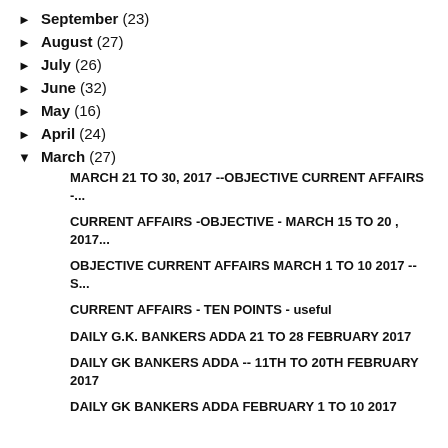► September (23)
► August (27)
► July (26)
► June (32)
► May (16)
► April (24)
▼ March (27)
MARCH 21 TO 30, 2017 --OBJECTIVE CURRENT AFFAIRS -...
CURRENT AFFAIRS -OBJECTIVE - MARCH 15 TO 20 , 2017...
OBJECTIVE CURRENT AFFAIRS MARCH 1 TO 10 2017 -- S...
CURRENT AFFAIRS - TEN POINTS - useful
DAILY G.K. BANKERS ADDA 21 TO 28 FEBRUARY 2017
DAILY GK BANKERS ADDA -- 11TH TO 20TH FEBRUARY 2017
DAILY GK BANKERS ADDA FEBRUARY 1 TO 10 2017